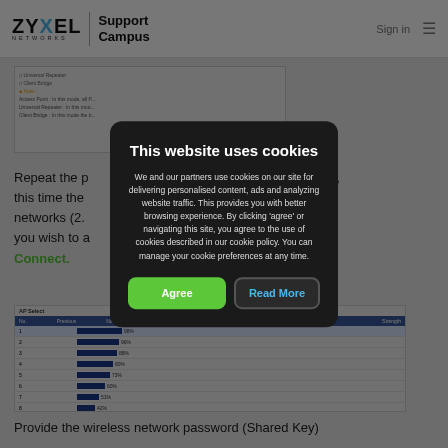[Figure (screenshot): Zyxel Networks Support Campus website header with logo, Sign in link, and hamburger menu]
[Figure (screenshot): Screenshot of wireless mode configuration options including Universal Repeater, Client Bridge, and notes about Access Point mode]
Repeat the p... mode again, this time the ... able wireless networks (2.4... network you wish to a... and click Connect.
[Figure (screenshot): AP Select table showing wireless networks with columns for No., Previous, Now, Last and signal strength bars]
[Figure (other): Cookie consent modal overlay on Zyxel Support Campus website]
This website uses cookies
We and our partners use cookies on our site for delivering personalised content, ads and analyzing website traffic. This provides you with better browsing experience. By clicking ‘agree’ or navigating this site, you agree to the use of cookies described in our cookie policy. You can manage your cookie preferences at any time.
Agree
Read More
Provide the wireless network password (Shared Key)